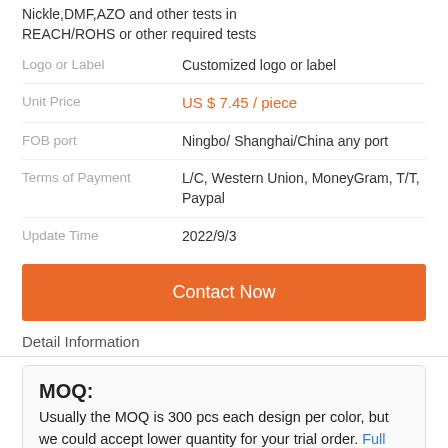Nickle,DMF,AZO and other tests in REACH/ROHS or other required tests
Logo or Label — Customized logo or label
Unit Price — US $ 7.45 / piece
FOB port — Ningbo/ Shanghai/China any port
Terms of Payment — L/C, Western Union, MoneyGram, T/T, Paypal
Update Time — 2022/9/3
Contact Now
Detail Information
MOQ:
Usually the MOQ is 300 pcs each design per color, but we could accept lower quantity for your trial order. Full Grain Pin Buckle Belt is our main product. In order to protecting your business as well as the reputation of